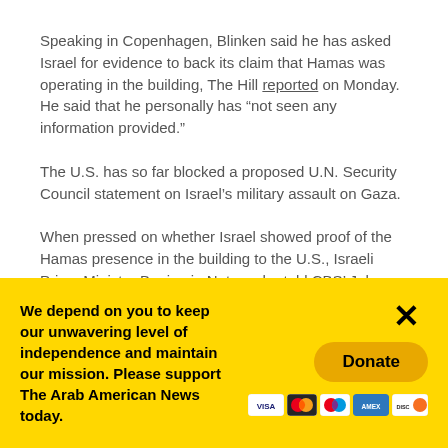Speaking in Copenhagen, Blinken said he has asked Israel for evidence to back its claim that Hamas was operating in the building, The Hill reported on Monday. He said that he personally has “not seen any information provided.”
The U.S. has so far blocked a proposed U.N. Security Council statement on Israel’s military assault on Gaza.
When pressed on whether Israel showed proof of the Hamas presence in the building to the U.S., Israeli Prime Minister Benjamin Netanyahu told CBS’ John Dickerson on Sunday that, “Well, we share with our American friends all that intelligence.”
We depend on you to keep our unwavering level of independence and maintain our mission. Please support The Arab American News today.